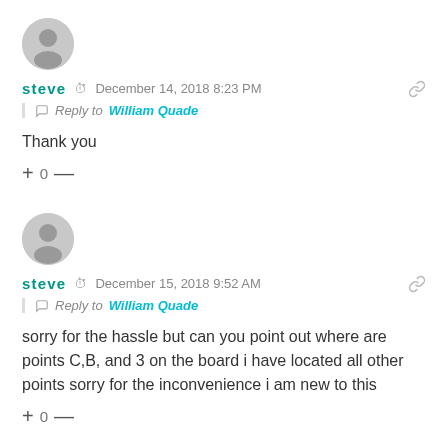[Figure (illustration): Gray circle avatar for user steve]
steve  December 14, 2018 8:23 PM
Reply to William Quade
Thank you
+ 0 —
[Figure (illustration): Gray circle avatar for user steve]
steve  December 15, 2018 9:52 AM
Reply to William Quade
sorry for the hassle but can you point out where are points C,B, and 3 on the board i have located all other points sorry for the inconvenience i am new to this
+ 0 —
[Figure (photo): Author avatar photo with teal border, and Author badge]
William Quade  December 15, 2018 12:26 PM